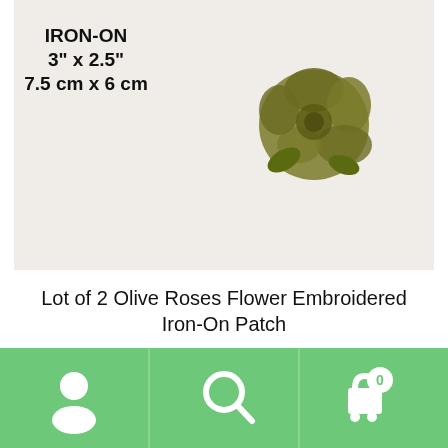[Figure (photo): Product photo of an olive/dark green embroidered rose flower iron-on patch on a white background. Text overlay reads: IRON-ON 3" x 2.5" 7.5 cm x 6 cm]
Lot of 2 Olive Roses Flower Embroidered Iron-On Patch
$8.90
Add to cart
[Figure (infographic): Green navigation bar at bottom with three icons: person/user icon, search/magnifying glass icon, and shopping cart icon with a '0' badge]